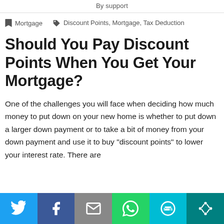By support
Mortgage   Discount Points, Mortgage, Tax Deduction
Should You Pay Discount Points When You Get Your Mortgage?
One of the challenges you will face when deciding how much money to put down on your new home is whether to put down a larger down payment or to take a bit of money from your down payment and use it to buy "discount points" to lower your interest rate. There are
Share buttons: Twitter, Facebook, Email, WhatsApp, SMS, More